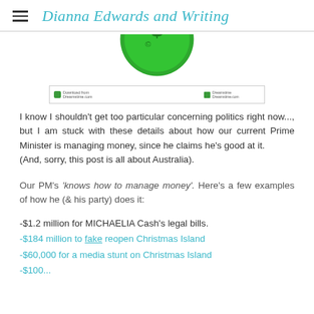Dianna Edwards and Writing
[Figure (illustration): Partial green circle with dollar/money symbol icon at top, followed by a small watermark/attribution image below]
I know I shouldn't get too particular concerning politics right now..., but I am stuck with these details about how our current Prime Minister is managing money, since he claims he's good at it.
(And, sorry, this post is all about Australia).
Our PM's 'knows how to manage money'. Here's a few examples of how he (& his party) does it:
-$1.2 million for MICHAELIA Cash's legal bills.
-$184 million to fake reopen Christmas Island
-$60,000 for a media stunt on Christmas Island
-$100...